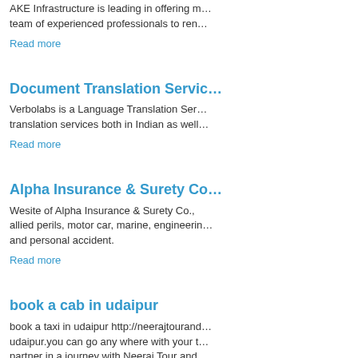AKE Infrastructure is leading in offering m… team of experienced professionals to ren…
Read more
Document Translation Servic…
Verbolabs is a Language Translation Ser… translation services both in Indian as well…
Read more
Alpha Insurance & Surety Co…
Wesite of Alpha Insurance & Surety Co., allied perils, motor car, marine, engineerin… and personal accident.
Read more
book a cab in udaipur
book a taxi in udaipur http://neerajtourand… udaipur.you can go any where with your t… partner in a journey with Neeraj Tour and… professional driver and travel economical… experienced and cherish forever. The eas…
Read more